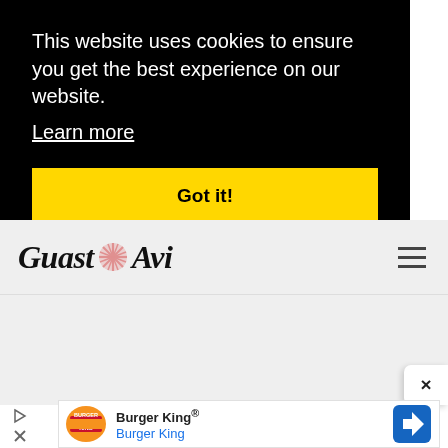This website uses cookies to ensure you get the best experience on our website. Learn more
Got it!
[Figure (logo): Guast Avi website logo with decorative star/asterisk element between words]
[Figure (screenshot): Burger King advertisement banner showing Burger King logo, name and navigation icon]